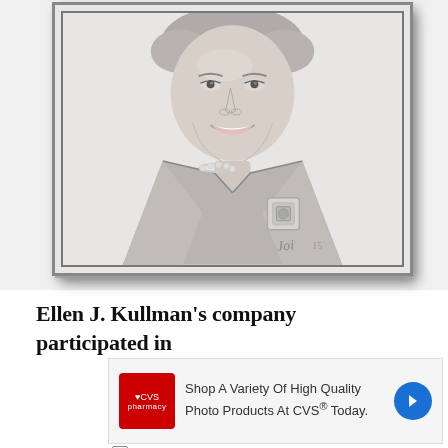[Figure (illustration): A pencil sketch portrait of Ellen J. Kullman, showing her from the shoulders up, smiling, wearing a jacket with a square brooch and a pearl necklace. The drawing is framed with a double border and signed with initials and '15' in the lower right corner.]
Ellen J. Kullman's company participated in
[Figure (screenshot): CVS Pharmacy advertisement reading 'Shop A Variety Of High Quality Photo Products At CVS® Today.' with CVS logo on the left and a blue arrow navigation button on the right.]